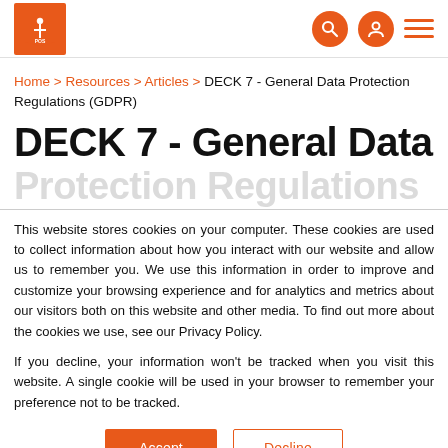POS [logo] | [search icon] [user icon] [menu]
Home > Resources > Articles > DECK 7 - General Data Protection Regulations (GDPR)
DECK 7 - General Data Protection Regulations (GDPR)
This website stores cookies on your computer. These cookies are used to collect information about how you interact with our website and allow us to remember you. We use this information in order to improve and customize your browsing experience and for analytics and metrics about our visitors both on this website and other media. To find out more about the cookies we use, see our Privacy Policy.
If you decline, your information won't be tracked when you visit this website. A single cookie will be used in your browser to remember your preference not to be tracked.